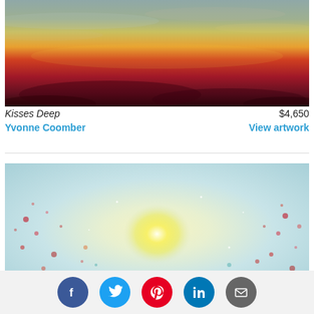[Figure (photo): Abstract sunset landscape painting – gradient from deep dark bottom to red, orange, yellow, green, grey sky top]
Kisses Deep
$4,650
Yvonne Coomber
View artwork
[Figure (photo): Abstract floral painting with light blue background, bright yellow glowing centre, scattered red and pink wildflower dots and splashes]
[Figure (infographic): Social share bar with Facebook, Twitter, Pinterest, LinkedIn, and Email icons]